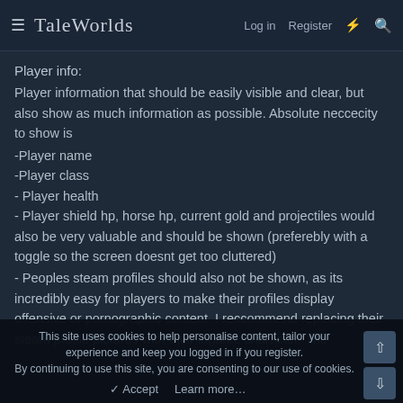TaleWorlds — Log in  Register
Player info:
Player information that should be easily visible and clear, but also show as much information as possible. Absolute neccecity to show is
-Player name
-Player class
- Player health
- Player shield hp, horse hp, current gold and projectiles would also be very valuable and should be shown (preferebly with a toggle so the screen doesnt get too cluttered)
- Peoples steam profiles should also not be shown, as its incredibly easy for players to make their profiles display offensive or pornographic content. I reccommend replacing their steam profile pictures with their ingame character. The
This site uses cookies to help personalise content, tailor your experience and keep you logged in if you register. By continuing to use this site, you are consenting to our use of cookies.  Accept  Learn more…